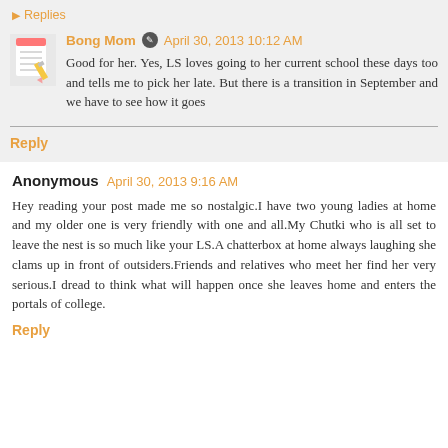▶ Replies
Bong Mom · April 30, 2013 10:12 AM
Good for her. Yes, LS loves going to her current school these days too and tells me to pick her late. But there is a transition in September and we have to see how it goes
Reply
Anonymous April 30, 2013 9:16 AM
Hey reading your post made me so nostalgic.I have two young ladies at home and my older one is very friendly with one and all.My Chutki who is all set to leave the nest is so much like your LS.A chatterbox at home always laughing she clams up in front of outsiders.Friends and relatives who meet her find her very serious.I dread to think what will happen once she leaves home and enters the portals of college.
Reply